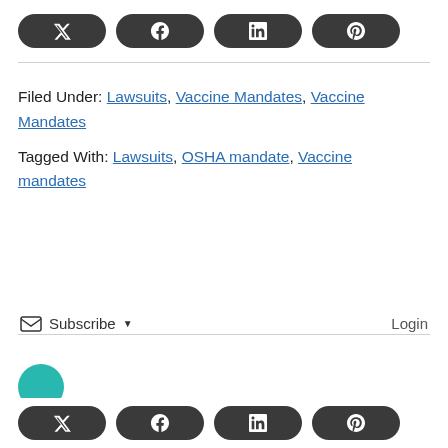[Figure (other): Social share buttons bar (Twitter, Facebook, LinkedIn, Pinterest) at top of page]
Filed Under: Lawsuits, Vaccine Mandates, Vaccine Mandates
Tagged With: Lawsuits, OSHA mandate, Vaccine mandates
Subscribe  Login
[Figure (other): Social share buttons bar (Twitter, Facebook, LinkedIn, Pinterest) at bottom of page]